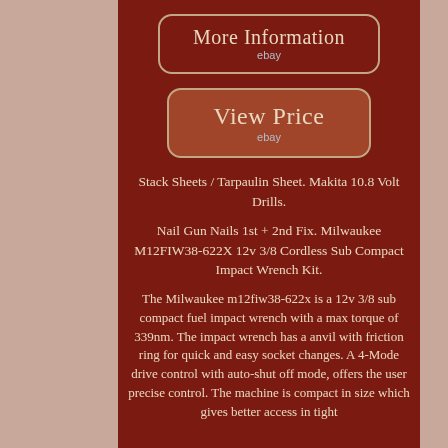[Figure (other): Button with rounded rectangle border labeled 'More Information' with 'ebay' subtitle in blue-grey text, on dark red background]
[Figure (other): Button with rounded rectangle border labeled 'View Price' with 'ebay' subtitle in blue-grey text, on slightly lighter dark red background]
Stack Sheets / Tarpaulin Sheet. Makita 10.8 Volt Drills.
Nail Gun Nails 1st + 2nd Fix. Milwaukee M12FIW38-622X 12v 3/8 Cordless Sub Compact Impact Wrench Kit.
The Milwaukee m12fiw38-622x is a 12v 3/8 sub compact fuel impact wrench with a max torque of 339nm. The impact wrench has a anvil with friction ring for quick and easy socket changes. A 4-Mode drive control with auto-shut off mode, offers the user precise control. The machine is compact in size which gives better access in tight